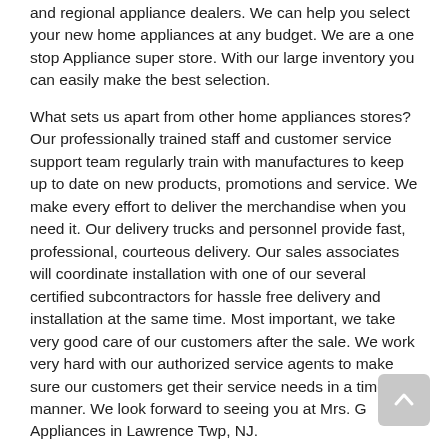and regional appliance dealers. We can help you select your new home appliances at any budget. We are a one stop Appliance super store. With our large inventory you can easily make the best selection.
What sets us apart from other home appliances stores? Our professionally trained staff and customer service support team regularly train with manufactures to keep up to date on new products, promotions and service. We make every effort to deliver the merchandise when you need it. Our delivery trucks and personnel provide fast, professional, courteous delivery. Our sales associates will coordinate installation with one of our several certified subcontractors for hassle free delivery and installation at the same time. Most important, we take very good care of our customers after the sale. We work very hard with our authorized service agents to make sure our customers get their service needs in a timely manner. We look forward to seeing you at Mrs. G Appliances in Lawrence Twp, NJ.
Shop by Category
Clearance
Refrigeration
Cooking